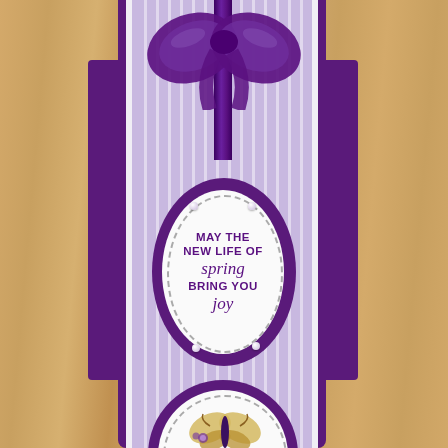[Figure (photo): A tall narrow handmade greeting card with deep purple outer panels, lavender striped inner paper, a purple satin ribbon tied in a bow at the top, and an oval die-cut label in the center with the stamped message 'MAY THE NEW LIFE OF spring BRING YOU joy' in purple ink on white cardstock with pearl embellishments. A second partial oval circle is visible at the bottom with a floral/butterfly image.]